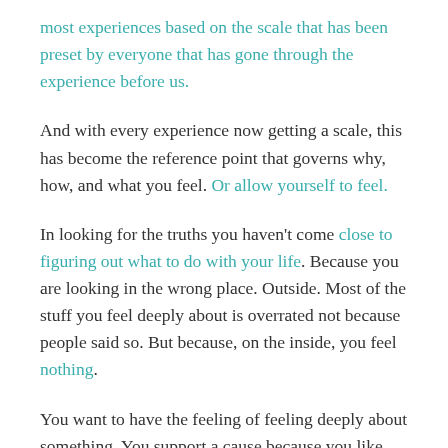most experiences based on the scale that has been preset by everyone that has gone through the experience before us.
And with every experience now getting a scale, this has become the reference point that governs why, how, and what you feel. Or allow yourself to feel.
In looking for the truths you haven't come close to figuring out what to do with your life. Because you are looking in the wrong place. Outside. Most of the stuff you feel deeply about is overrated not because people said so. But because, on the inside, you feel nothing.
You want to have the feeling of feeling deeply about something. You support a cause because you like the idea of supporting the cause more than the cause itself. The